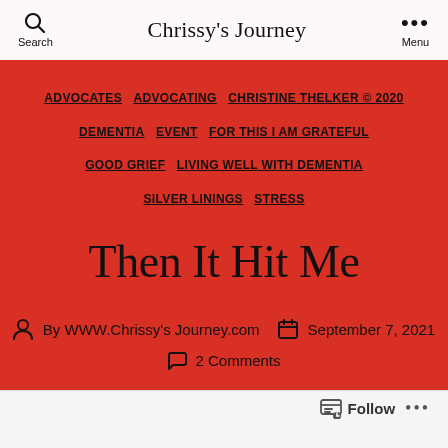Chrissy's Journey
ADVOCATES   ADVOCATING   CHRISTINE THELKER © 2020   DEMENTIA   EVENT   FOR THIS I AM GRATEFUL   GOOD GRIEF   LIVING WELL WITH DEMENTIA   SILVER LININGS   STRESS
Then It Hit Me
By WWW.Chrissy's Journey.com   September 7, 2021   2 Comments
Follow ...